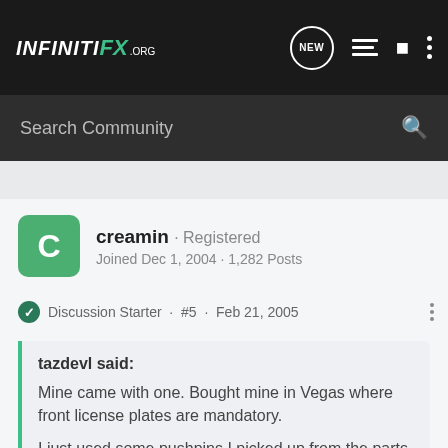INFINITI FX .ORG
Search Community
creamin · Registered
Joined Dec 1, 2004 · 1,282 Posts
Discussion Starter · #5 · Feb 21, 2005
tazdevl said:
Mine came with one. Bought mine in Vegas where front license plates are mandatory.

I just used some pushpins I picked up from the parts department.